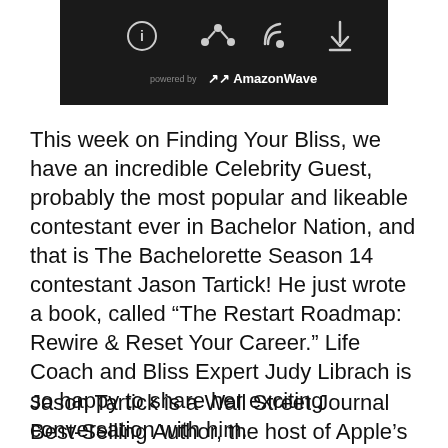[Figure (screenshot): Dark/black podcast player UI bar showing four icons (info, share, RSS, download) and 'powered by AmazonWave' branding at the bottom]
This week on Finding Your Bliss, we have an incredible Celebrity Guest, probably the most popular and likeable contestant ever in Bachelor Nation, and that is The Bachelorette Season 14 contestant Jason Tartick! He just wrote a book, called “The Restart Roadmap: Rewire & Reset Your Career.” Life Coach and Bliss Expert Judy Librach is so happy to share her exciting conversation with him.
Jason Tartick is a Wall Street Journal Best-Selling Author, the host of Apple’s Top Charting Business Podcast “Trading